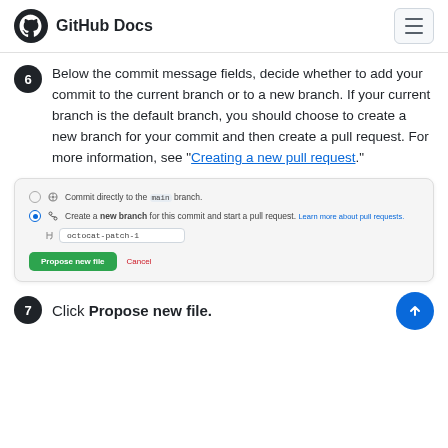GitHub Docs
Below the commit message fields, decide whether to add your commit to the current branch or to a new branch. If your current branch is the default branch, you should choose to create a new branch for your commit and then create a pull request. For more information, see "Creating a new pull request."
[Figure (screenshot): GitHub UI screenshot showing options to commit directly to the main branch or create a new branch for the commit and start a pull request. The 'Create a new branch' option is selected, with an input field showing 'octocat-patch-1'. Buttons 'Propose new file' (green) and 'Cancel' (red text) are shown below.]
Click Propose new file.